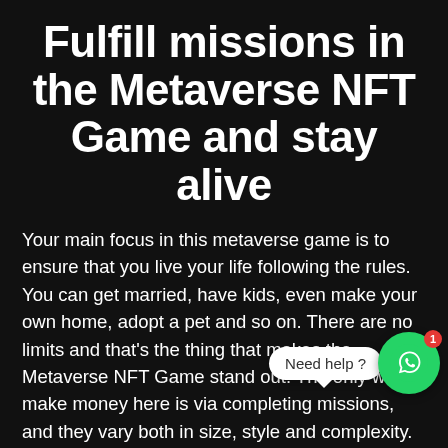Fulfill missions in the Metaverse NFT Game and stay alive
Your main focus in this metaverse game is to ensure that you live your life following the rules. You can get married, have kids, even make your own home, adopt a pet and so on. There are no limits and that's the thing that makes the Metaverse NFT Game stand out. The only way to make money here is via completing missions, and they vary both in size, style and complexity. There are a lot of different missions that you need to follow, each bringing unique details and ideas. You just have to check out for yourself and test your skills.
[Figure (other): WhatsApp chat widget overlay showing 'Need help?' speech bubble and green WhatsApp logo circle button with red notification badge showing 1]